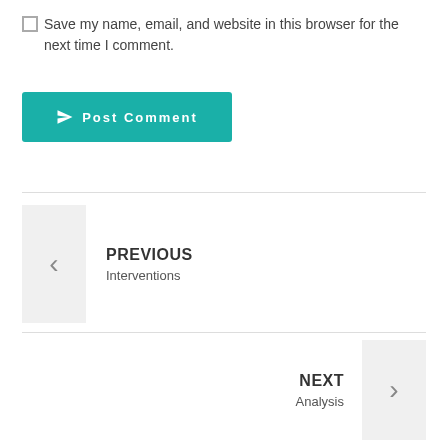Save my name, email, and website in this browser for the next time I comment.
[Figure (other): Post Comment button with send/paper-plane icon, teal background]
PREVIOUS
Interventions
NEXT
Analysis